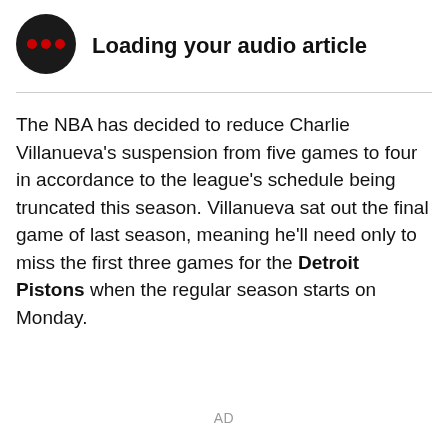[Figure (illustration): Black circular icon with three red dots arranged horizontally, representing an audio loading indicator]
Loading your audio article
The NBA has decided to reduce Charlie Villanueva's suspension from five games to four in accordance to the league's schedule being truncated this season. Villanueva sat out the final game of last season, meaning he'll need only to miss the first three games for the Detroit Pistons when the regular season starts on Monday.
AD